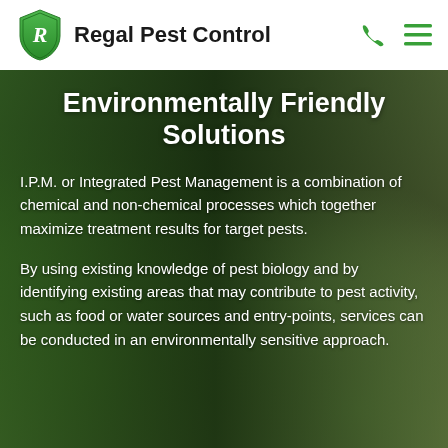Regal Pest Control
Environmentally Friendly Solutions
I.P.M. or Integrated Pest Management is a combination of chemical and non-chemical processes which together maximize treatment results for target pests.
By using existing knowledge of pest biology and by identifying existing areas that may contribute to pest activity, such as food or water sources and entry-points, services can be conducted in an environmentally sensitive approach.